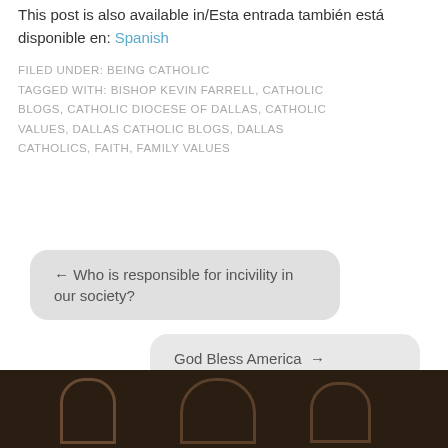This post is also available in/Esta entrada también está disponible en: Spanish
FILED UNDER: BEING CATHOLIC
TAGGED WITH: BISHOP KEVIN FARRELL, CATHOLIC BLOGS, CATHOLIC DIOCESE OF DALLAS, CATHOLIC VALUES, DALLAS CATHOLIC BLOGS, DALLAS CATHOLICS, FAITH, FAMILY VALUES
← Who is responsible for incivility in our society?
God Bless America →
[Figure (photo): Dark photo of arched architectural facade of a church building at bottom of page]